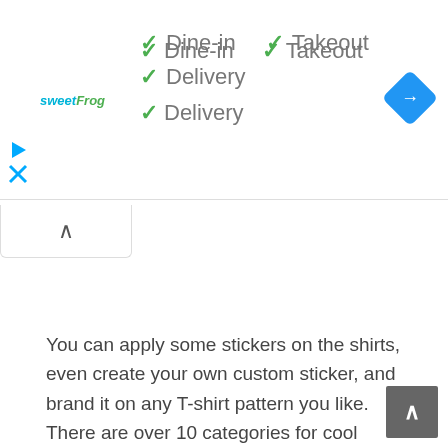[Figure (logo): sweetFrog logo in teal/green italic text]
✓ Dine-in
✓ Takeout
✓ Delivery
[Figure (illustration): Blue diamond navigation/directions icon with white right-turn arrow]
[Figure (illustration): Blue play triangle icon and blue X close icon on left side]
[Figure (illustration): Collapse/chevron-up tab button]
You can apply some stickers on the shirts, even create your own custom sticker, and brand it on any T-shirt pattern you like. There are over 10 categories for cool fitting T-shirt this app.